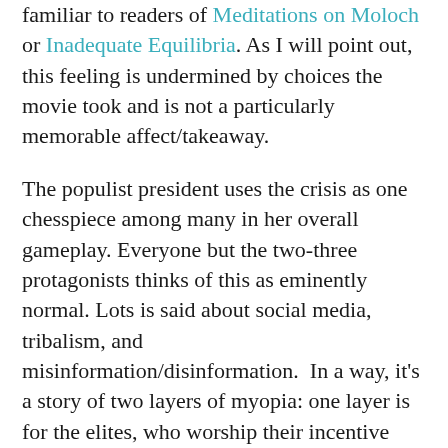familiar to readers of Meditations on Moloch or Inadequate Equilibria. As I will point out, this feeling is undermined by choices the movie took and is not a particularly memorable affect/takeaway.
The populist president uses the crisis as one chesspiece among many in her overall gameplay. Everyone but the two-three protagonists thinks of this as eminently normal. Lots is said about social media, tribalism, and misinformation/disinformation.  In a way, it's a story of two layers of myopia: one layer is for the elites, who worship their incentive gradients in the face of armageddon; the other is for normal people, who are subject to whatever processes cause vaccine hesitancy to cut along political party lines. I think the culture war - ification is a good choice for the movie to make, as I expect it to be a real problem as the real life xrisk